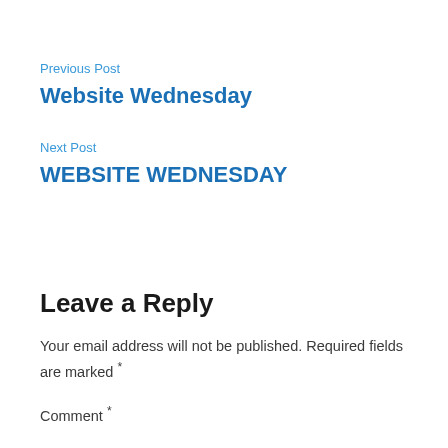Previous Post
Website Wednesday
Next Post
WEBSITE WEDNESDAY
Leave a Reply
Your email address will not be published. Required fields are marked *
Comment *